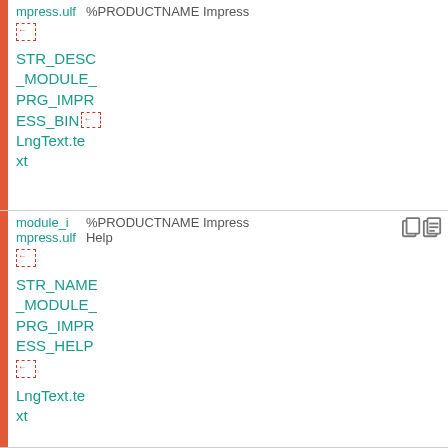mpress.ulf   %PRODUCTNAME Impress
[icon]
STR_DESC_MODULE_PRG_IMPRESS_BIN
LngText.text
module_impress.ulf   %PRODUCTNAME Impress Help
[icon]
STR_NAME_MODULE_PRG_IMPRESS_HELP
[icon]
LngText.text